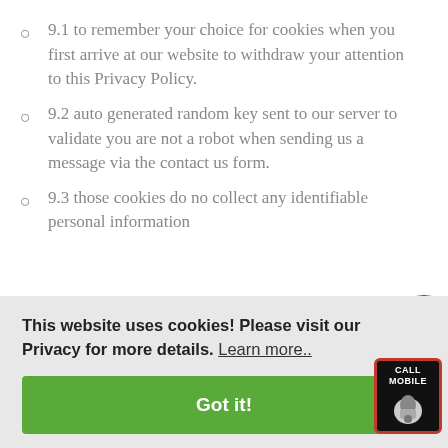9.1 to remember your choice for cookies when you first arrive at our website to withdraw your attention to this Privacy Policy.
9.2 auto generated random key sent to our server to validate you are not a robot when sending us a message via the contact us form.
9.3 those cookies do no collect any identifiable personal information
This website uses cookies! Please visit our Privacy for more details.  Learn more..
Got it!
do not collect any identifiable information.
[Figure (illustration): Accessibility icon - blue circle with white person with outstretched arms symbol]
[Figure (illustration): Call Mobile widget - dark background with red border showing phone/hand icon and CALL MOBILE text]